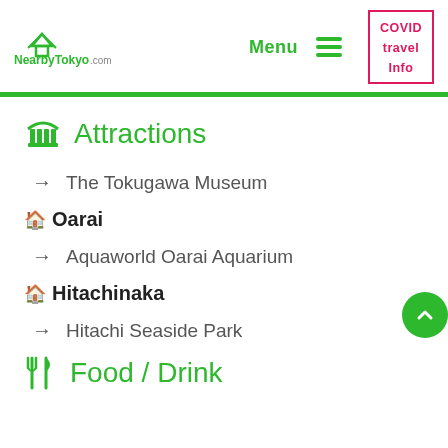NearbyTokyo.com | Menu | COVID travel Info
Attractions
The Tokugawa Museum
Oarai
Aquaworld Oarai Aquarium
Hitachinaka
Hitachi Seaside Park
Food / Drink